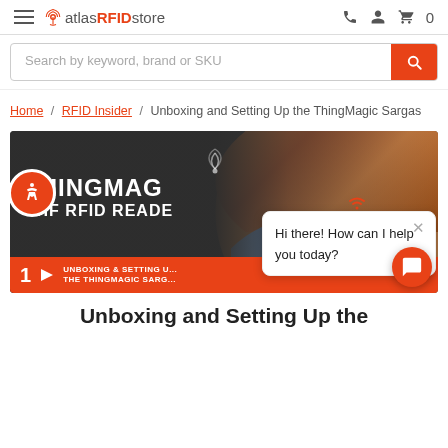atlasRFIDstore — navigation bar
Search by keyword, brand or SKU
Home / RFID Insider / Unboxing and Setting Up the ThingMagic Sargas
[Figure (screenshot): Video thumbnail showing ThingMagic UHF RFID Reader unboxing and setup video, with text overlay 'THINGMAG UHF RFID READE... UNBOXING & SETTING UP THE THINGMAGIC SARG...' and a chat popup saying 'Hi there! How can I help you today?']
Unboxing and Setting Up the